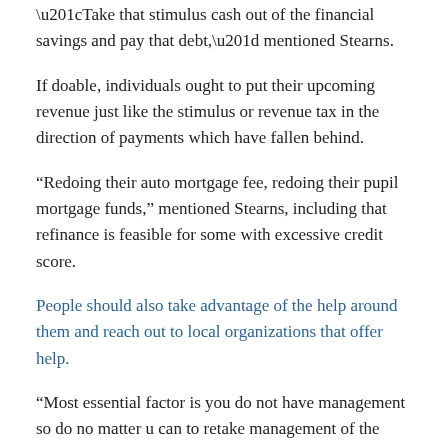“Take that stimulus cash out of the financial savings and pay that debt,” mentioned Stearns.
If doable, individuals ought to put their upcoming revenue just like the stimulus or revenue tax in the direction of payments which have fallen behind.
“Redoing their auto mortgage fee, redoing their pupil mortgage funds,” mentioned Stearns, including that refinance is feasible for some with excessive credit score.
People should also take advantage of the help around them and reach out to local organizations that offer help.
“Most essential factor is you do not have management so do no matter u can to retake management of the scenario,” mentioned Stearns.
For the newest updates on coronavirus within the Coastal Bend, click here.